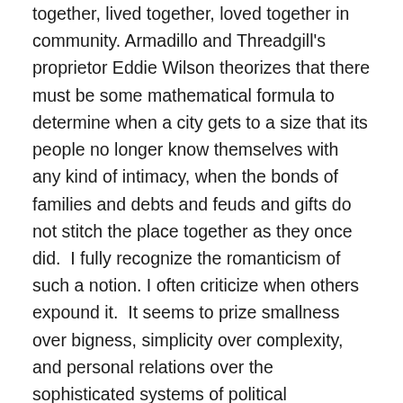together, lived together, loved together in community. Armadillo and Threadgill's proprietor Eddie Wilson theorizes that there must be some mathematical formula to determine when a city gets to a size that its people no longer know themselves with any kind of intimacy, when the bonds of families and debts and feuds and gifts do not stitch the place together as they once did.  I fully recognize the romanticism of such a notion. I often criticize when others expound it.  It seems to prize smallness over bigness, simplicity over complexity, and personal relations over the sophisticated systems of political economy.  It seems to mistake our sizable city for a small town.  Small towns can be supportive when everyone knows your affairs, but they can be stultifying for the same reasons. They can inspire loyalty and nurture community; they can aggravate prejudices and stifle dissent. But, I'm not sure